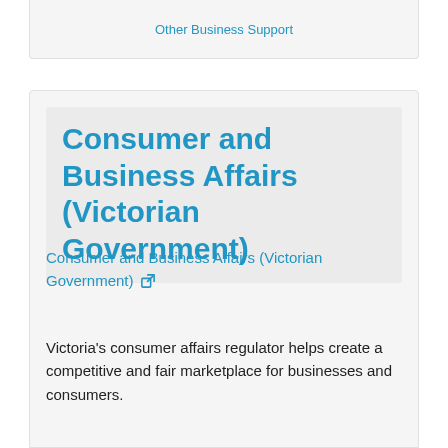Other Business Support
Consumer and Business Affairs (Victorian Government)
Consumer and Business Affairs (Victorian Government) ↗
Victoria's consumer affairs regulator helps create a competitive and fair marketplace for businesses and consumers.